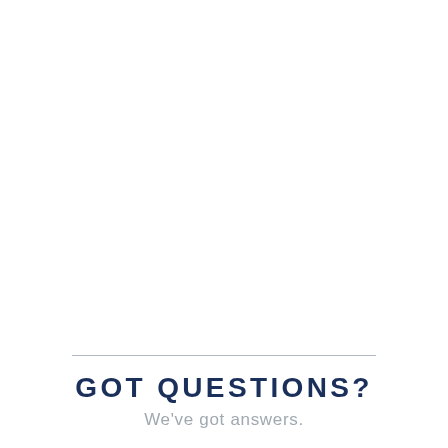GOT QUESTIONS?
We've got answers.